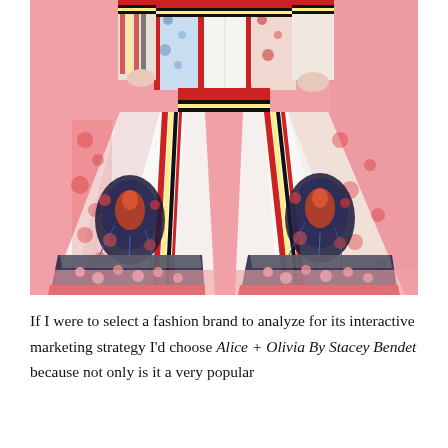[Figure (photo): A fashion photo showing a model wearing colorful, heavily patterned wide-leg flared pants and a matching jacket with intricate mixed prints including floral, geometric, and bird motifs in red, white, black, yellow and blue. The model stands against a pink background. Only the torso and legs are visible.]
If I were to select a fashion brand to analyze for its interactive marketing strategy I'd choose Alice + Olivia By Stacey Bendet because not only is it a very popular